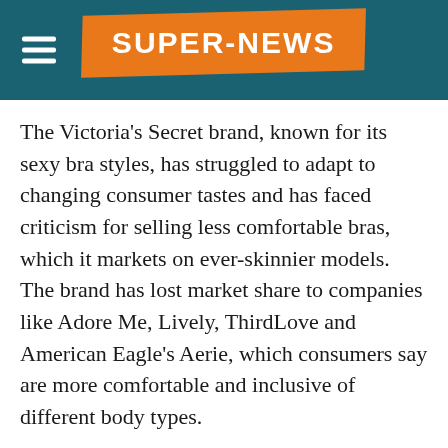SUPER-NEWS
The Victoria’s Secret brand, known for its sexy bra styles, has struggled to adapt to changing consumer tastes and has faced criticism for selling less comfortable bras, which it markets on ever-skinnier models. The brand has lost market share to companies like Adore Me, Lively, ThirdLove and American Eagle’s Aerie, which consumers say are more comfortable and inclusive of different body types.
After Victoria’s Secret saw a $500 million drop in annual revenues after pulling its bathing suits off the market in 2016, the brand recently decided to reintroduce swimwear.